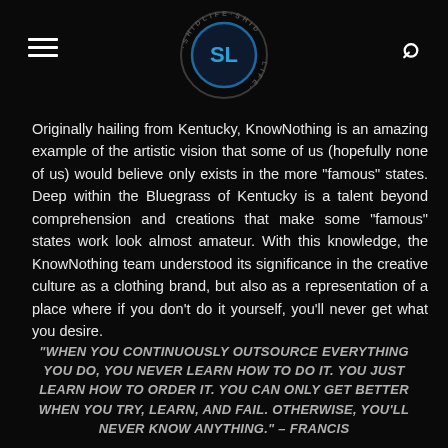[Logo: SL / SHIDLIFE circular badge] [Hamburger menu icon] [Search icon]
Originally hailing from Kentucky, KnowNothing is an amazing example of the artistic vision that some of us (hopefully none of us) would believe only exists in the more “famous” states. Deep within the Bluegrass of Kentucky is a talent beyond comprehension and creations that make some “famous” states work look almost amateur. With this knowledge, the KnowNothing team understood its significance in the creative culture as a clothing brand, but also as a representation of a place where if you don’t do it yourself, you’ll never get what you desire.
“WHEN YOU CONTINUOUSLY OUTSOURCE EVERYTHING YOU DO, YOU NEVER LEARN HOW TO DO IT. YOU JUST LEARN HOW TO ORDER IT. YOU CAN ONLY GET BETTER WHEN YOU TRY, LEARN, AND FAIL. OTHERWISE, YOU’LL NEVER KNOW ANYTHING.” – FRANCIS